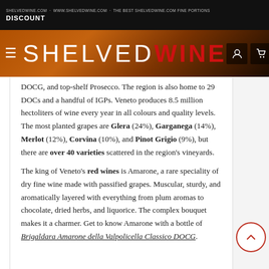DISCOUNT
[Figure (logo): ShelvedWine website logo and navigation bar with hamburger menu, SHELVEDWINE logo (SHELVED in white, WINE in red), user icon and cart icon on dark background with warm orange/red gradient background photo]
DOCG, and top-shelf Prosecco. The region is also home to 29 DOCs and a handful of IGPs. Veneto produces 8.5 million hectoliters of wine every year in all colours and quality levels. The most planted grapes are Glera (24%), Garganega (14%), Merlot (12%), Corvina (10%), and Pinot Grigio (9%), but there are over 40 varieties scattered in the region's vineyards.
The king of Veneto's red wines is Amarone, a rare speciality of dry fine wine made with passified grapes. Muscular, sturdy, and aromatically layered with everything from plum aromas to chocolate, dried herbs, and liquorice. The complex bouquet makes it a charmer. Get to know Amarone with a bottle of Brigaldara Amarone della Valpolicella Classico DOCG.